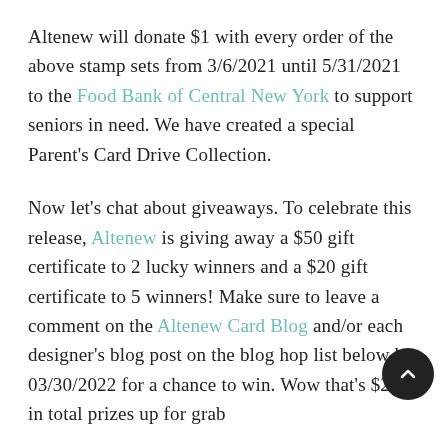Altenew will donate $1 with every order of the above stamp sets from 3/6/2021 until 5/31/2021 to the Food Bank of Central New York to support seniors in need. We have created a special Parent's Card Drive Collection.
Now let's chat about giveaways. To celebrate this release, Altenew is giving away a $50 gift certificate to 2 lucky winners and a $20 gift certificate to 5 winners! Make sure to leave a comment on the Altenew Card Blog and/or each designer's blog post on the blog hop list below by 03/30/2022 for a chance to win. Wow that's $200 in total prizes up for grab
Next up on the hop is Ann. I hope you enjoy your time on the Celebrating Parents Card